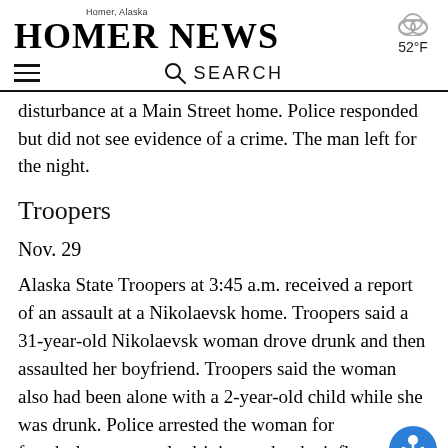Homer News — Homer, Alaska — 52°F
disturbance at a Main Street home. Police responded but did not see evidence of a crime. The man left for the night.
Troopers
Nov. 29
Alaska State Troopers at 3:45 a.m. received a report of an assault at a Nikolaevsk home. Troopers said a 31-year-old Nikolaevsk woman drove drunk and then assaulted her boyfriend. Troopers said the woman also had been alone with a 2-year-old child while she was drunk. Police arrested the woman for fourth-degree assault, driving under the influence